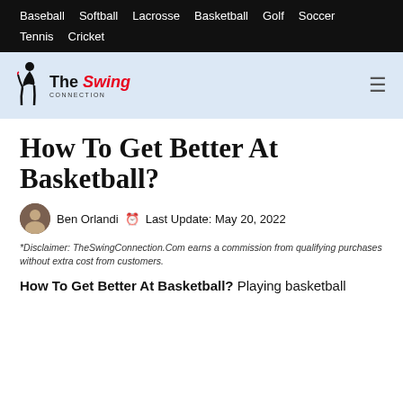Baseball  Softball  Lacrosse  Basketball  Golf  Soccer  Tennis  Cricket
[Figure (logo): The Swing Connection logo with golfer silhouette icon, 'The' in black bold, 'Swing' in red bold italic, 'CONNECTION' in small caps below]
How To Get Better At Basketball?
Ben Orlandi  Last Update: May 20, 2022
*Disclaimer: TheSwingConnection.Com earns a commission from qualifying purchases without extra cost from customers.
How To Get Better At Basketball? Playing basketball